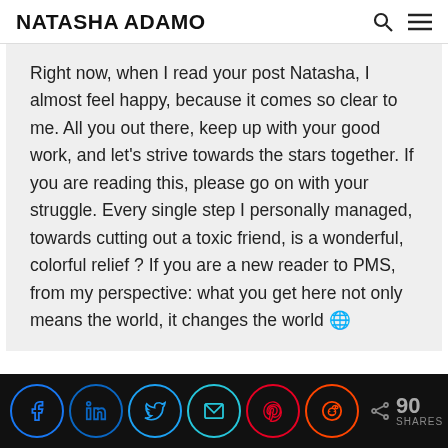NATASHA ADAMO
Right now, when I read your post Natasha, I almost feel happy, because it comes so clear to me. All you out there, keep up with your good work, and let's strive towards the stars together. If you are reading this, please go on with your struggle. Every single step I personally managed, towards cutting out a toxic friend, is a wonderful, colorful relief ? If you are a new reader to PMS, from my perspective: what you get here not only means the world, it changes the world 🌍
90 SHARES